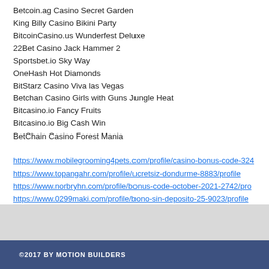Betcoin.ag Casino Secret Garden
King Billy Casino Bikini Party
BitcoinCasino.us Wunderfest Deluxe
22Bet Casino Jack Hammer 2
Sportsbet.io Sky Way
OneHash Hot Diamonds
BitStarz Casino Viva las Vegas
Betchan Casino Girls with Guns Jungle Heat
Bitcasino.io Fancy Fruits
Bitcasino.io Big Cash Win
BetChain Casino Forest Mania
https://www.mobilegrooming4pets.com/profile/casino-bonus-code-324
https://www.topangahr.com/profile/ucretsiz-dondurme-8883/profile
https://www.norbryhn.com/profile/bonus-code-october-2021-2742/pro
https://www.0299maki.com/profile/bono-sin-deposito-25-9023/profile
©2017 BY MOTION BUILDERS